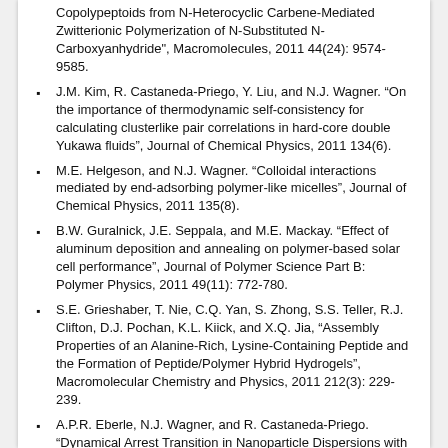Copolypeptoids from N-Heterocyclic Carbene-Mediated Zwitterionic Polymerization of N-Substituted N-Carboxyanhydride", Macromolecules, 2011 44(24): 9574-9585.
J.M. Kim, R. Castaneda-Priego, Y. Liu, and N.J. Wagner. “On the importance of thermodynamic self-consistency for calculating clusterlike pair correlations in hard-core double Yukawa fluids", Journal of Chemical Physics, 2011 134(6).
M.E. Helgeson, and N.J. Wagner. “Colloidal interactions mediated by end-adsorbing polymer-like micelles", Journal of Chemical Physics, 2011 135(8).
B.W. Guralnick, J.E. Seppala, and M.E. Mackay. “Effect of aluminum deposition and annealing on polymer-based solar cell performance", Journal of Polymer Science Part B: Polymer Physics, 2011 49(11): 772-780.
S.E. Grieshaber, T. Nie, C.Q. Yan, S. Zhong, S.S. Teller, R.J. Clifton, D.J. Pochan, K.L. Kiick, and X.Q. Jia, “Assembly Properties of an Alanine-Rich, Lysine-Containing Peptide and the Formation of Peptide/Polymer Hybrid Hydrogels", Macromolecular Chemistry and Physics, 2011 212(3): 229-239.
A.P.R. Eberle, N.J. Wagner, and R. Castaneda-Priego. “Dynamical Arrest Transition in Nanoparticle Dispersions with Short-Range Interactions", Physical Review Letters, 2011 106(10).